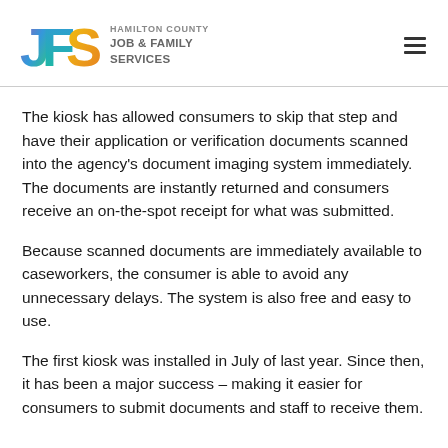[Figure (logo): Hamilton County Job & Family Services logo with colorful JFS letters and agency name text]
The kiosk has allowed consumers to skip that step and have their application or verification documents scanned into the agency's document imaging system immediately. The documents are instantly returned and consumers receive an on-the-spot receipt for what was submitted.
Because scanned documents are immediately available to caseworkers, the consumer is able to avoid any unnecessary delays. The system is also free and easy to use.
The first kiosk was installed in July of last year. Since then, it has been a major success – making it easier for consumers to submit documents and staff to receive them.